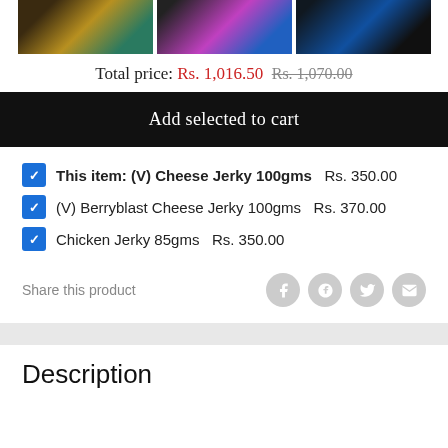[Figure (photo): Three product photos: dog with yellow bag, dog with pink/blue bag, dog with dark blue bag]
Total price: Rs. 1,016.50  Rs. 1,070.00
Add selected to cart
This item: (V) Cheese Jerky 100gms  Rs. 350.00
(V) Berryblast Cheese Jerky 100gms  Rs. 370.00
Chicken Jerky 85gms  Rs. 350.00
Share this product
Description